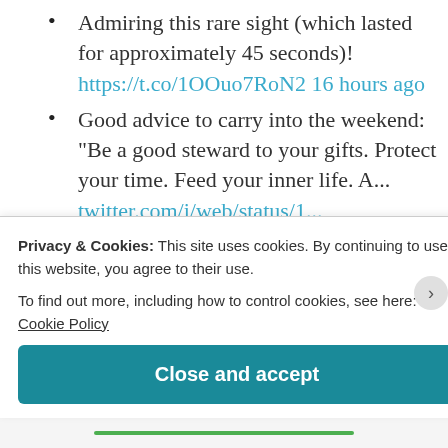Admiring this rare sight (which lasted for approximately 45 seconds)! https://t.co/1OOuo7RoN2 16 hours ago
Good advice to carry into the weekend: "Be a good steward to your gifts. Protect your time. Feed your inner life. A... twitter.com/i/web/status/1... 17 hours ago
and securing new funders to achieve self-sustainability: medium.com/inpsights/how-  Four
Privacy & Cookies: This site uses cookies. By continuing to use this website, you agree to their use. To find out more, including how to control cookies, see here: Cookie Policy
Close and accept